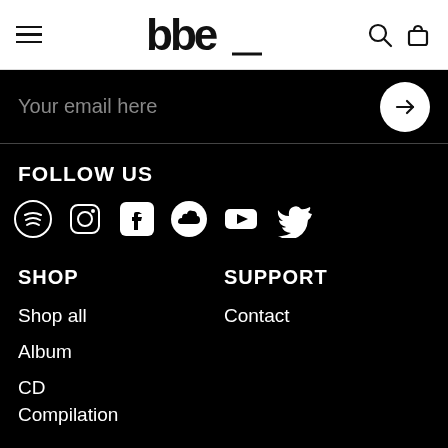BBE Music navigation bar with hamburger menu, BBE logo, search and bag icons
Your email here
FOLLOW US
[Figure (illustration): Social media icons: Spotify, Instagram, Facebook, SoundCloud, YouTube, Twitter]
SHOP
SUPPORT
Shop all
Contact
Album
CD
Compilation
Digital
Merchandise